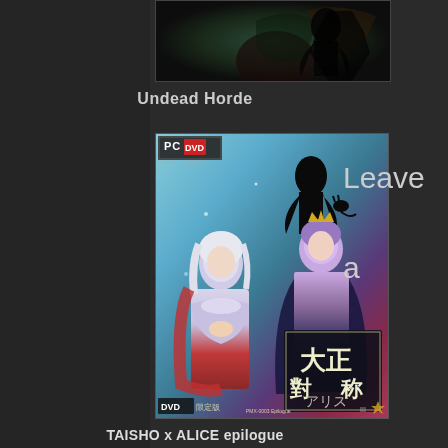[Figure (illustration): Partial view of Undead Horde game cover art showing a dark fantasy figure/character against a dark background]
Undead Horde
[Figure (illustration): TAISHO x ALICE epilogue PC DVD game box art featuring anime-style characters: a white-haired female character in Victorian dress and a purple-haired male character wearing a crown and cape, with Japanese text and ornate design elements. PC DVD badge top left, DVD badge bottom left.]
Leave a
TAISHO x ALICE epilogue